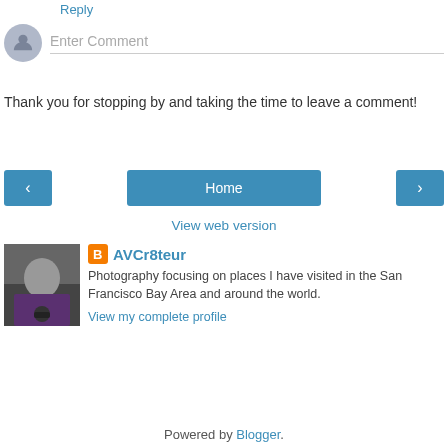Reply
[Figure (other): Comment input area with grey avatar icon and 'Enter Comment' placeholder text with underline]
Thank you for stopping by and taking the time to leave a comment!
[Figure (other): Navigation bar with left chevron button, Home button, and right chevron button]
View web version
[Figure (photo): Author photo showing a woman holding a camera on a city street]
AVCr8teur
Photography focusing on places I have visited in the San Francisco Bay Area and around the world.
View my complete profile
Powered by Blogger.